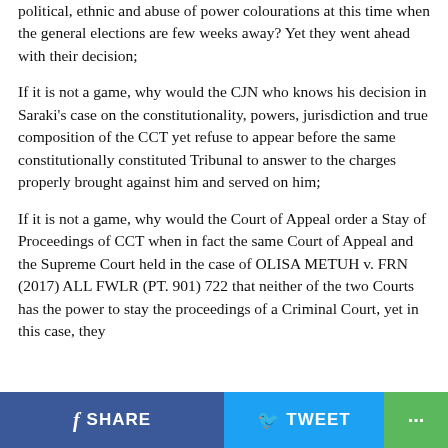political, ethnic and abuse of power colourations at this time when the general elections are few weeks away? Yet they went ahead with their decision;
If it is not a game, why would the CJN who knows his decision in Saraki’s case on the constitutionality, powers, jurisdiction and true composition of the CCT yet refuse to appear before the same constitutionally constituted Tribunal to answer to the charges properly brought against him and served on him;
If it is not a game, why would the Court of Appeal order a Stay of Proceedings of CCT when in fact the same Court of Appeal and the Supreme Court held in the case of OLISA METUH v. FRN (2017) ALL FWLR (PT. 901) 722 that neither of the two Courts has the power to stay the proceedings of a Criminal Court, yet in this case, they
SHARE   TWEET   ...